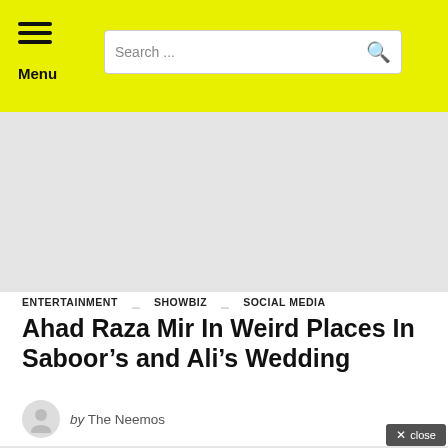Menu | Search ...
[Figure (other): Advertisement/placeholder block at top of article]
ENTERTAINMENT   SHOWBIZ   SOCIAL MEDIA
Ahad Raza Mir In Weird Places In Saboor’s and Ali’s Wedding
by The Neemos
[Figure (other): Advertisement/placeholder block at bottom of article]